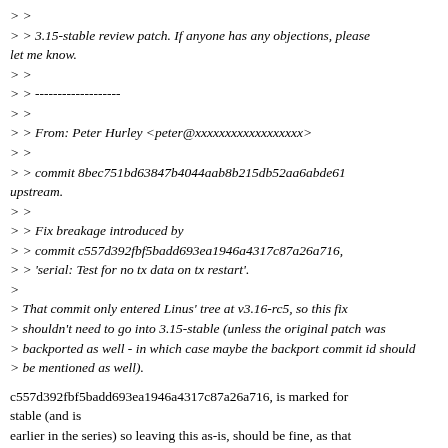> >
> > 3.15-stable review patch. If anyone has any objections, please let me know.
> >
> > -------------------
> >
> > From: Peter Hurley <peter@xxxxxxxxxxxxxxxxxx>
> >
> > commit 8bec751bd63847b4044aab8b215db52aa6abde61 upstream.
> >
> > Fix breakage introduced by
> > commit c557d392fbf5badd693ea1946a4317c87a26a716,
> > 'serial: Test for no tx data on tx restart'.
>
> That commit only entered Linus' tree at v3.16-rc5, so this fix > shouldn't need to go into 3.15-stable (unless the original patch was > backported as well - in which case maybe the backport commit id should > be mentioned as well).
c557d392fbf5badd693ea1946a4317c87a26a716, is marked for stable (and is earlier in the series) so leaving this as-is, should be fine, as that